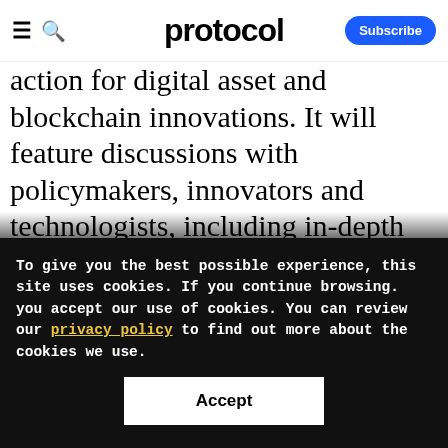protocol — Subscribe
action for digital asset and blockchain innovations. It will feature discussions with policymakers, innovators and technologists, including in-depth conversations with policymakers and regulators on the issues impacting the growing blockchain and cryptocurrency landscape. Special government rates available. Join us on May
To give you the best possible experience, this site uses cookies. If you continue browsing. you accept our use of cookies. You can review our privacy policy to find out more about the cookies we use.
Accept